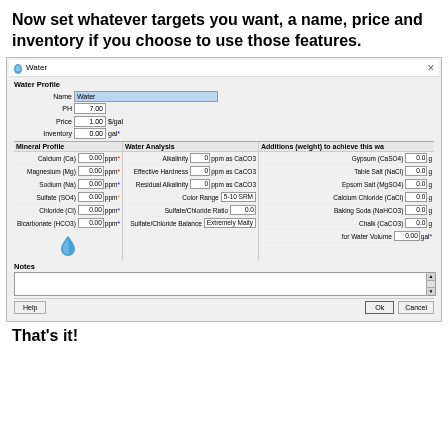Now set whatever targets you want, a name, price and inventory if you choose to use those features.
[Figure (screenshot): Screenshot of a Water Profile dialog box showing fields for Name (Water), PH (7.00), Price (1.00 $/gal), Inventory (0.00 gal). Contains Mineral Profile section with Calcium, Magnesium, Sodium, Sulfate, Chloride, Bicarbonate all at 0.00 ppm. Water Analysis section with Alkalinity, Effective Hardness, Residual Alkalinity (all 0 ppm as CaCO3), Color Range (5-10 SRM), Sulfate/Chloride Ratio (0.0), Sulfate/Chloride Balance (Extremely Malty). Additions section with Gypsum, Table Salt, Epsom Salt, Calcium Chloride, Baking Soda, Chalk (all 0.0 g), for Water Volume (0.00 gal). Notes section at bottom. Help, Ok, Cancel buttons.]
That's it!